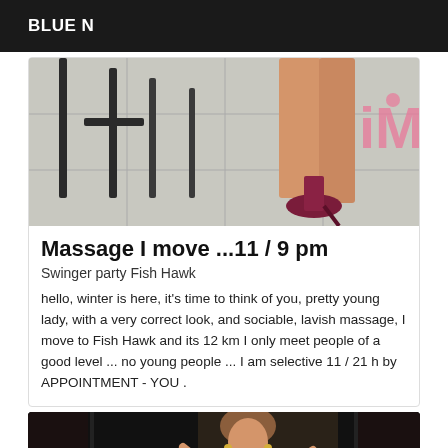BLUE N
[Figure (photo): Photo of legs in high-heeled shoes on a tiled floor with chairs in background, with pink iM watermark logo in top right]
Massage I move ...11 / 9 pm
Swinger party Fish Hawk
hello, winter is here, it's time to think of you, pretty young lady, with a very correct look, and sociable, lavish massage, I move to Fish Hawk and its 12 km I only meet people of a good level ... no young people ... I am selective 11 / 21 h by APPOINTMENT - YOU .
[Figure (photo): Photo of a woman with short hair smiling, wearing jewelry, in a dark background]